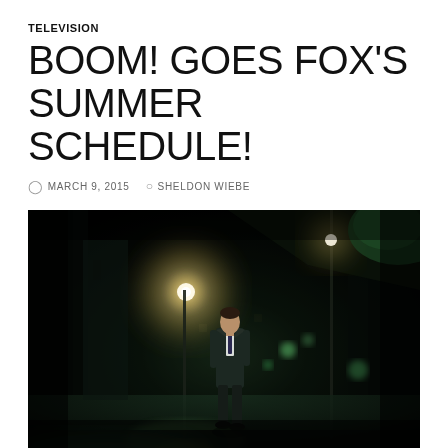TELEVISION
BOOM! GOES FOX'S SUMMER SCHEDULE!
MARCH 9, 2015   SHELDON WIEBE
[Figure (photo): A man in a dark suit and tie walks along a wet street at night, with streetlights glowing and bokeh lights in the background, creating a moody cinematic atmosphere.]